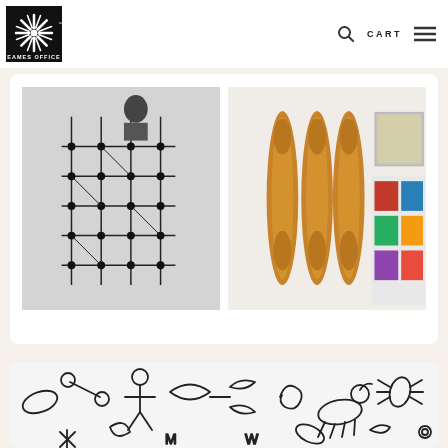[Figure (logo): Eames Office logo: black square with white starburst/sunburst pattern and 'EAMES OFFICE' text below]
CART
[Figure (photo): Black and white photo of a person standing near a large Eames wire/dot modular shelving unit structure]
[Figure (photo): Color photo showing wooden Eames leg splints mounted on a white wall and colorful Eames storage unit in background]
[Figure (photo): Close-up photo of abstract line-drawing textile/wallpaper pattern with playful organic shapes and figures in black outline on white]